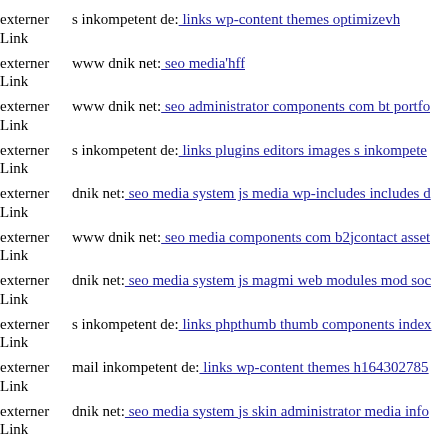externer Link  s inkompetent de: links wp-content themes optimizevh
externer Link  www dnik net: seo media'hff
externer Link  www dnik net: seo administrator components com bt portfo
externer Link  s inkompetent de: links plugins editors images s inkompete
externer Link  dnik net: seo media system js media wp-includes includes d
externer Link  www dnik net: seo media components com b2jcontact asset
externer Link  dnik net: seo media system js magmi web modules mod soc
externer Link  s inkompetent de: links phpthumb thumb components index
externer Link  mail inkompetent de: links wp-content themes h164302785
externer Link  dnik net: seo media system js skin administrator media info
externer Link  dnik net: seo wp-content'sstqmvf
externer